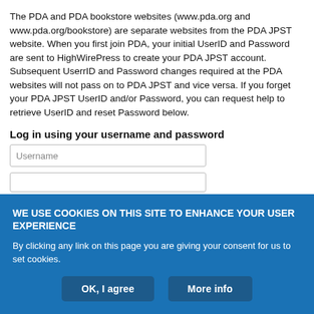The PDA and PDA bookstore websites (www.pda.org and www.pda.org/bookstore) are separate websites from the PDA JPST website. When you first join PDA, your initial UserID and Password are sent to HighWirePress to create your PDA JPST account. Subsequent UserrID and Password changes required at the PDA websites will not pass on to PDA JPST and vice versa. If you forget your PDA JPST UserID and/or Password, you can request help to retrieve UserID and reset Password below.
Log in using your username and password
[Figure (screenshot): Username input field (empty, placeholder text 'Username') and a partially visible second input field below it]
WE USE COOKIES ON THIS SITE TO ENHANCE YOUR USER EXPERIENCE
By clicking any link on this page you are giving your consent for us to set cookies.